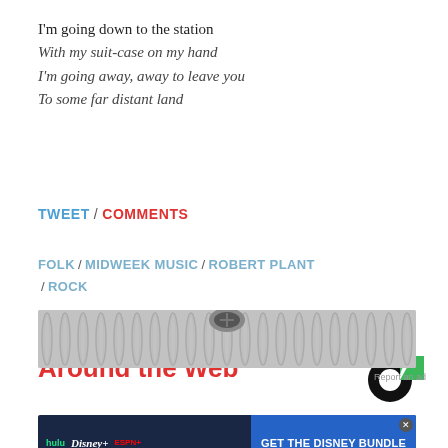I'm going down to the station
With my suit-case on my hand
I'm going away, away to leave you
To some far distant land
TWEET / COMMENTS
FOLK / MIDWEEK MUSIC / ROBERT PLANT / ROCK
Around the Web
[Figure (logo): Crowdynews logo - donut chart style logo with black and green segments]
[Figure (photo): Close-up photo of metal coiled wire or spring/screw]
Report an ad
[Figure (screenshot): Disney Bundle advertisement showing Hulu, Disney+, ESPN+ logos with 'GET THE DISNEY BUNDLE' button and fine print]